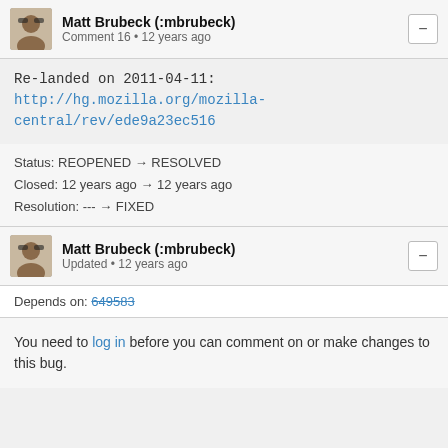Matt Brubeck (:mbrubeck) — Comment 16 • 12 years ago
Re-landed on 2011-04-11:
http://hg.mozilla.org/mozilla-central/rev/ede9a23ec516
Status: REOPENED → RESOLVED
Closed: 12 years ago → 12 years ago
Resolution: --- → FIXED
Matt Brubeck (:mbrubeck) — Updated • 12 years ago
Depends on: 649583
You need to log in before you can comment on or make changes to this bug.